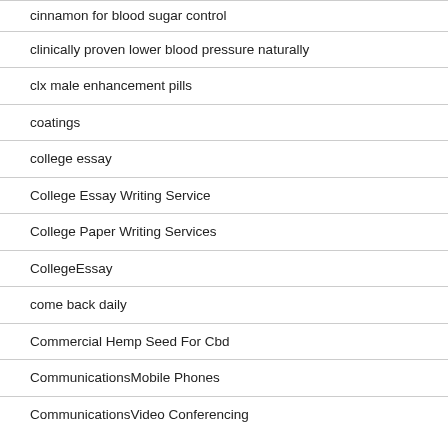cinnamon for blood sugar control
clinically proven lower blood pressure naturally
clx male enhancement pills
coatings
college essay
College Essay Writing Service
College Paper Writing Services
CollegeEssay
come back daily
Commercial Hemp Seed For Cbd
CommunicationsMobile Phones
CommunicationsVideo Conferencing